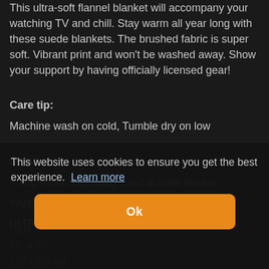This ultra-soft flannel blanket will accompany your watching TV and chill. Stay warm all year long with these suede blankets. The brushed fabric is super soft. Vibrant print and won't be washed away. Show your support by having officially licensed gear!
Care tip:
Machine wash on cold, Tumble dry on low
Details:
PRACTICAL: Lightweight and durable blanket
TIMELESS: Blankets with classic color
ULTRA SOFT: Excellent hand feeling
This website uses cookies to ensure you get the best experience. Learn more
Size:
50" x 60"
127 x 152 cm